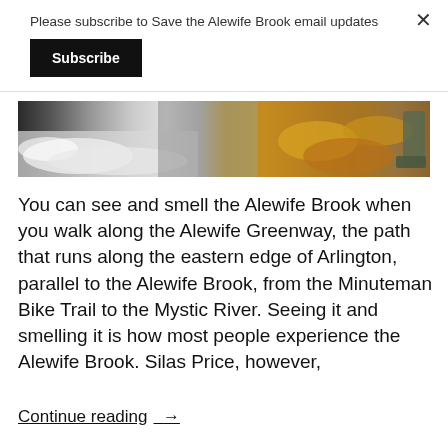Please subscribe to Save the Alewife Brook email updates
Subscribe
[Figure (photo): Close-up photo of water/foam on pavement with autumn leaves and a boot visible on the right side]
You can see and smell the Alewife Brook when you walk along the Alewife Greenway, the path that runs along the eastern edge of Arlington, parallel to the Alewife Brook, from the Minuteman Bike Trail to the Mystic River. Seeing it and smelling it is how most people experience the Alewife Brook. Silas Price, however,
Continue reading →